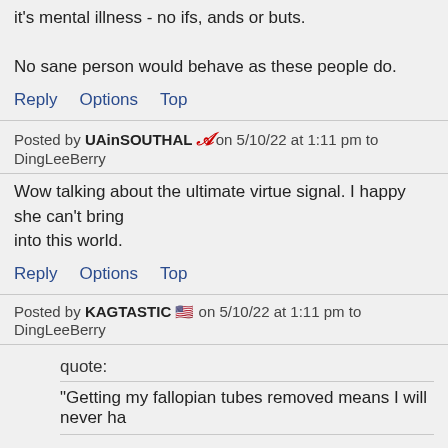it's mental illness - no ifs, ands or buts.

No sane person would behave as these people do.
Reply   Options   Top
Posted by UAinSOUTHAL [braves icon] on 5/10/22 at 1:11 pm to DingLeeBerry
Wow talking about the ultimate virtue signal. I happy she can't bring into this world.
Reply   Options   Top
Posted by KAGTASTIC [flag icon] on 5/10/22 at 1:11 pm to DingLeeBerry
quote:
"Getting my fallopian tubes removed means I will never ha